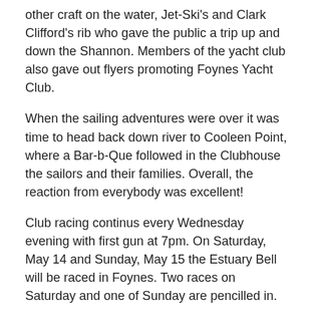other craft on the water, Jet-Ski's and Clark Clifford's rib who gave the public a trip up and down the Shannon. Members of the yacht club also gave out flyers promoting Foynes Yacht Club.
When the sailing adventures were over it was time to head back down river to Cooleen Point, where a Bar-b-Que followed in the Clubhouse the sailors and their families. Overall, the reaction from everybody was excellent!
Club racing continus every Wednesday evening with first gun at 7pm. On Saturday, May 14 and Sunday, May 15 the Estuary Bell will be raced in Foynes. Two races on Saturday and one of Sunday are pencilled in.
Tagged under  #Foynes Yacht Club  #yacht  #Riverfest  #Shannon  #estuary  #sailing
Read more...